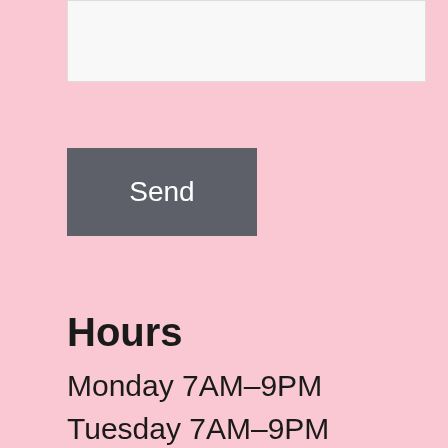[Figure (other): Input text box (form field, partially visible at top)]
Send
Hours
Monday 7AM–9PM
Tuesday 7AM–9PM
Wednesday 7AM–9PM
Thursday 7AM–9PM
Friday 7AM–9PM
Saturday 9AM–9PM